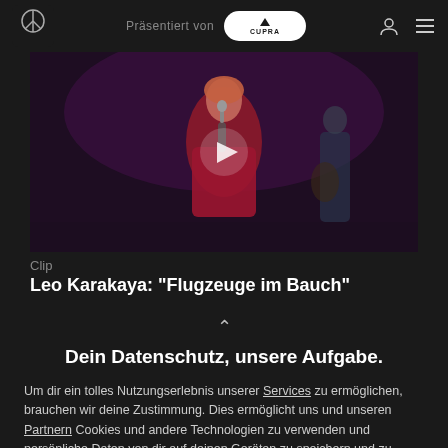Präsentiert von CUPRA
[Figure (photo): Video thumbnail showing a performer in a red jacket singing on stage with a microphone, with a play button overlay. Background musician with guitar visible.]
Clip
Leo Karakaya: "Flugzeuge im Bauch"
Dein Datenschutz, unsere Aufgabe.
Um dir ein tolles Nutzungserlebnis unserer Services zu ermöglichen, brauchen wir deine Zustimmung. Dies ermöglicht uns und unseren Partnern Cookies und andere Technologien zu verwenden und persönliche Daten von dir auf deinen Geräten zu speichern und zu verarbeiten und Werbung entsprechend deiner Interessen anzuzeigen. Ich bin damit einverstanden und
AKZEPTIEREN